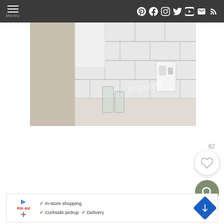MENU | Pinterest Facebook Instagram Twitter YouTube Email RSS
[Figure (photo): Kitchen or bathroom backsplash with white subway tiles, glass containers, and a white electrical outlet/switch plate on the wall. Watermark text 'inspired' visible on the image.]
62
[Figure (illustration): Heart/like button icon (outline heart in white circle)]
[Figure (illustration): Search/magnifying glass button icon (white magnifying glass in olive/green circle)]
[Figure (screenshot): Advertisement banner: logo with play and close icons and red brand name, checkmarks for 'In-store shopping', 'Curbside pickup', 'Delivery', and a blue diamond-shaped navigation arrow icon.]